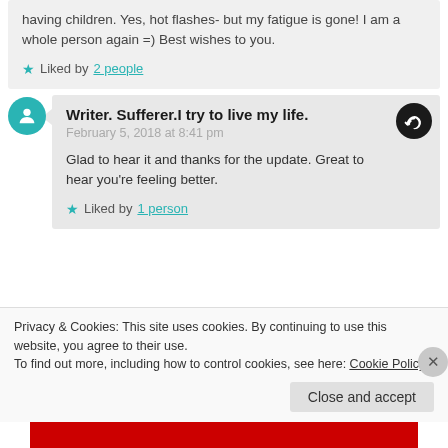having children. Yes, hot flashes- but my fatigue is gone! I am a whole person again =) Best wishes to you.
Liked by 2 people
Writer. Sufferer.I try to live my life.
February 5, 2018 at 8:41 pm
Glad to hear it and thanks for the update. Great to hear you're feeling better.
Liked by 1 person
Privacy & Cookies: This site uses cookies. By continuing to use this website, you agree to their use.
To find out more, including how to control cookies, see here: Cookie Policy